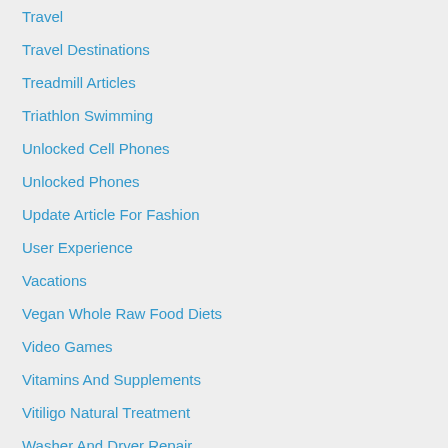Travel
Travel Destinations
Treadmill Articles
Triathlon Swimming
Unlocked Cell Phones
Unlocked Phones
Update Article For Fashion
User Experience
Vacations
Vegan Whole Raw Food Diets
Video Games
Vitamins And Supplements
Vitiligo Natural Treatment
Washer And Dryer Repair
Web Design